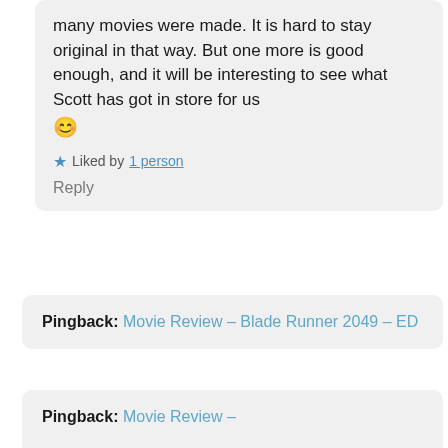many movies were made. It is hard to stay original in that way. But one more is good enough, and it will be interesting to see what Scott has got in store for us 😊
★ Liked by 1 person
Reply
Pingback: Movie Review – Blade Runner 2049 – ED
Pingback: Movie Review –